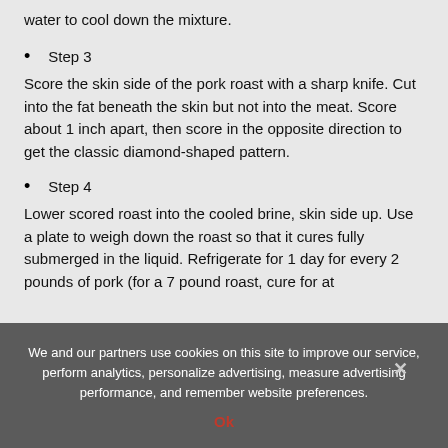water to cool down the mixture.
Step 3
Score the skin side of the pork roast with a sharp knife. Cut into the fat beneath the skin but not into the meat. Score about 1 inch apart, then score in the opposite direction to get the classic diamond-shaped pattern.
Step 4
Lower scored roast into the cooled brine, skin side up. Use a plate to weigh down the roast so that it cures fully submerged in the liquid. Refrigerate for 1 day for every 2 pounds of pork (for a 7 pound roast, cure for at
We and our partners use cookies on this site to improve our service, perform analytics, personalize advertising, measure advertising performance, and remember website preferences.
Ok